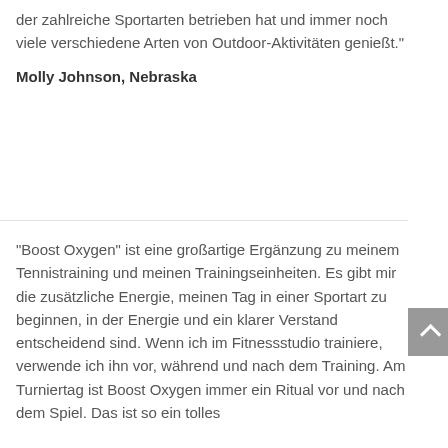der zahlreiche Sportarten betrieben hat und immer noch viele verschiedene Arten von Outdoor-Aktivitäten genießt."
Molly Johnson, Nebraska
"Boost Oxygen" ist eine großartige Ergänzung zu meinem Tennistraining und meinen Trainingseinheiten. Es gibt mir die zusätzliche Energie, meinen Tag in einer Sportart zu beginnen, in der Energie und ein klarer Verstand entscheidend sind. Wenn ich im Fitnessstudio trainiere, verwende ich ihn vor, während und nach dem Training. Am Turniertag ist Boost Oxygen immer ein Ritual vor und nach dem Spiel. Das ist so ein tolles